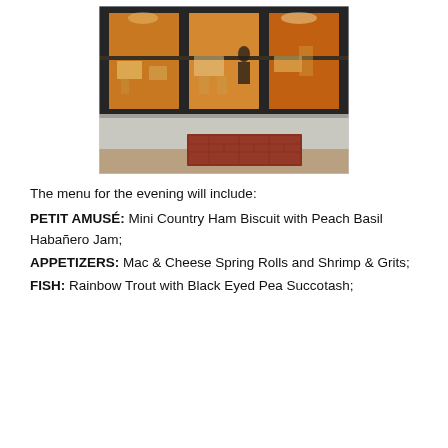[Figure (photo): Exterior photo of a restaurant with large black-framed floor-to-ceiling glass windows, showing dining tables and chairs inside, with a sidewalk and red brick doormat in front.]
The menu for the evening will include:
PETIT AMUSÉ: Mini Country Ham Biscuit with Peach Basil Habañero Jam;
APPETIZERS: Mac & Cheese Spring Rolls and Shrimp & Grits;
FISH: Rainbow Trout with Black Eyed Pea Succotash;